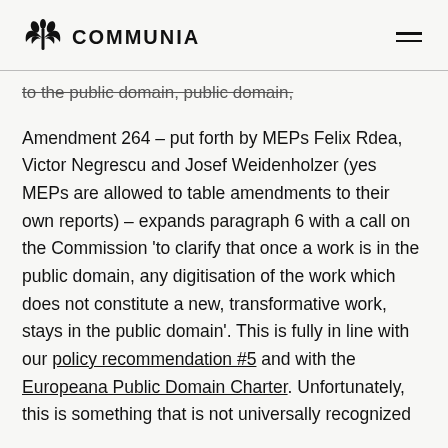COMMUNIA
to the public domain, public domain,
Amendment 264 – put forth by MEPs Felix Rdea, Victor Negrescu and Josef Weidenholzer (yes MEPs are allowed to table amendments to their own reports) – expands paragraph 6 with a call on the Commission 'to clarify that once a work is in the public domain, any digitisation of the work which does not constitute a new, transformative work, stays in the public domain'. This is fully in line with our policy recommendation #5 and with the Europeana Public Domain Charter. Unfortunately, this is something that is not universally recognized